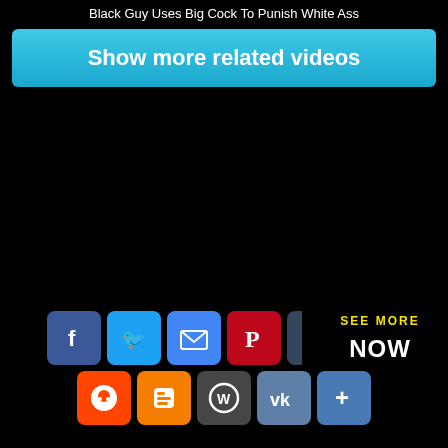Black Guy Uses Big Cock To Punish White Ass
Show more related videos
[Figure (screenshot): Black background area with social sharing icons at the bottom: Facebook, Twitter, Email, Pinterest, Tumblr, scroll-up button in top row; Reddit, Blogger, WordPress, VK, AddThis in bottom row. Overlay showing 'SEE MORE' and 'NOW' text in yellow/white.]